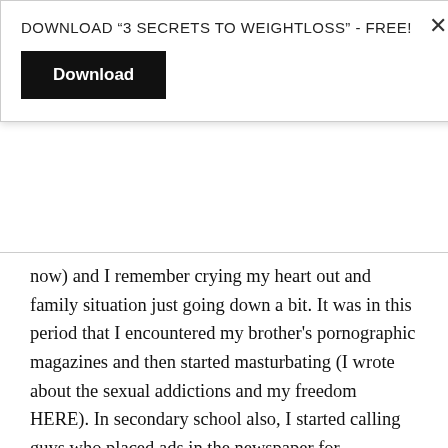DOWNLOAD “3 SECRETS TO WEIGHTLOSS” - FREE!
Download
now) and I remember crying my heart out and family situation just going down a bit. It was in this period that I encountered my brother's pornographic magazines and then started masturbating (I wrote about the sexual addictions and my freedom HERE). In secondary school also, I started calling guys who placed ads in the newspaper for girlfriends and it was here that I met the guy who I naively spent the night with, thinking that he would honour his agreement to no sex, but that night was traumatizing, with me taking a slap and some threats of belt accompanied with the